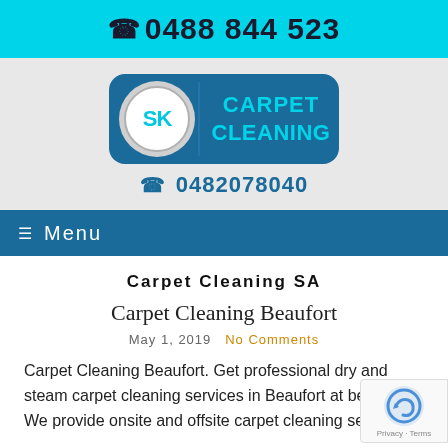☎ 0488 844 523
[Figure (logo): SK Carpet Cleaning logo: circular SK badge on left, blue rounded rectangle with 'CARPET CLEANING' text on right]
☎ 0482078040
≡ Menu
Carpet Cleaning SA
Carpet Cleaning Beaufort
May 1, 2019   No Comments
Carpet Cleaning Beaufort. Get professional dry and steam carpet cleaning services in Beaufort at best rates! We provide onsite and offsite carpet cleaning services,